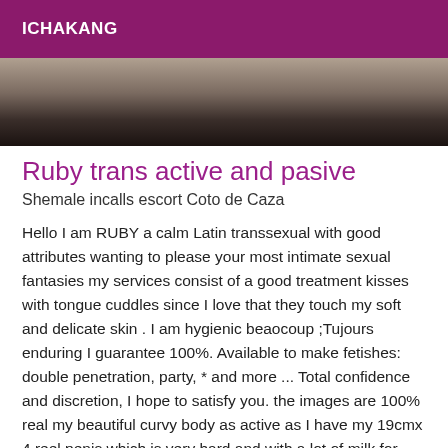ICHAKANG
[Figure (photo): Partial photo showing dark background with what appears to be a person, mostly cropped]
Ruby trans active and pasive
Shemale incalls escort Coto de Caza
Hello I am RUBY a calm Latin transsexual with good attributes wanting to please your most intimate sexual fantasies my services consist of a good treatment kisses with tongue cuddles since I love that they touch my soft and delicate skin . I am hygienic beaocoup ;Tujours enduring I guarantee 100%. Available to make fetishes: double penetration, party, * and more ... Total confidence and discretion, I hope to satisfy you. the images are 100% real my beautiful curvy body as active as I have my 19cmx 4 reel penis which is very hard and with a lot of milk for you as a passive I am very hot because I like to fuck my hot and tight ass and very deep I am hopeful